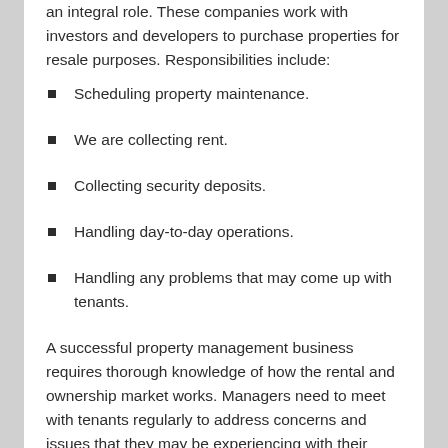an integral role. These companies work with investors and developers to purchase properties for resale purposes. Responsibilities include:
Scheduling property maintenance.
We are collecting rent.
Collecting security deposits.
Handling day-to-day operations.
Handling any problems that may come up with tenants.
A successful property management business requires thorough knowledge of how the rental and ownership market works. Managers need to meet with tenants regularly to address concerns and issues that they may be experiencing with their tenants. Maintaining good customer relations is essential for success. Tenants should feel like their rights are protected and that their